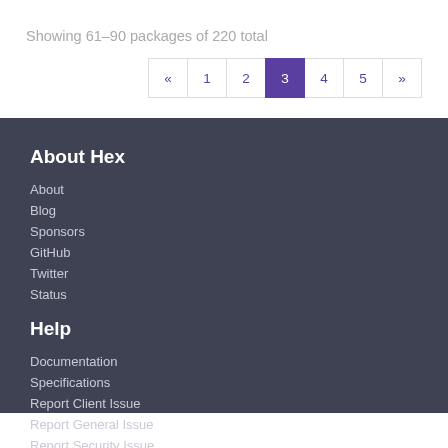Showing 61–90 packages of 220 total
« 1 2 3 4 5 »
About Hex
About
Blog
Sponsors
GitHub
Twitter
Status
Help
Documentation
Specifications
Report Client Issue
Report General Issue
Report Security Issue
Contact Support